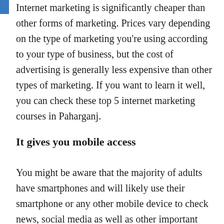Internet marketing is significantly cheaper than other forms of marketing. Prices vary depending on the type of marketing you're using according to your type of business, but the cost of advertising is generally less expensive than other types of marketing. If you want to learn it well, you can check these top 5 internet marketing courses in Paharganj.
It gives you mobile access
You might be aware that the majority of adults have smartphones and will likely use their smartphone or any other mobile device to check news, social media as well as other important tasks. Internet marketing can help you to reach them easily when they're doing